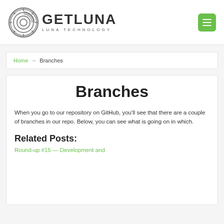GETLUNA — LUNA TECHNOLOGY
Home → Branches
Branches
When you go to our repository on GitHub, you'll see that there are a couple of branches in our repo. Below, you can see what is going on in which.
Related Posts:
Round-up #15 — Development and